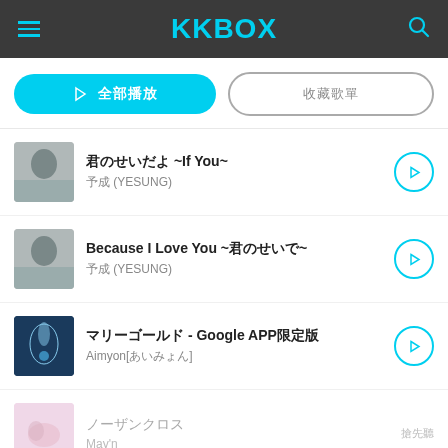KKBOX
▷ 全部播放 | 收藏
君のせいだよ ~If You~ / 予成 (YESUNG)
Because I Love You ~君のせいで~ / 予成 (YESUNG)
マリーゴールド - Google APP限定版 / Aimyon[あいみょん]
ノーザンクロス / May'n
ポリリズム (feat. 悪漢奴等 & SiN) / Kobasolo